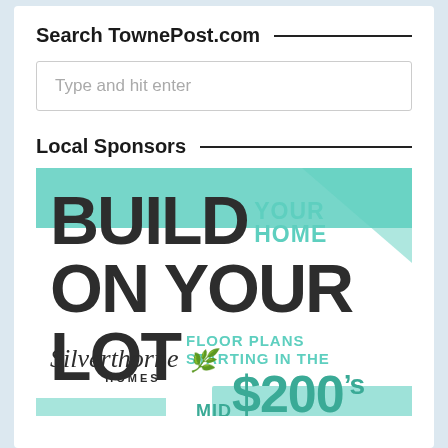Search TownePost.com
Type and hit enter
Local Sponsors
[Figure (illustration): Silverthorne Homes advertisement: BUILD YOUR HOME ON YOUR LOT, FLOOR PLANS STARTING IN THE MID $200's, Silverthorne Homes logo]